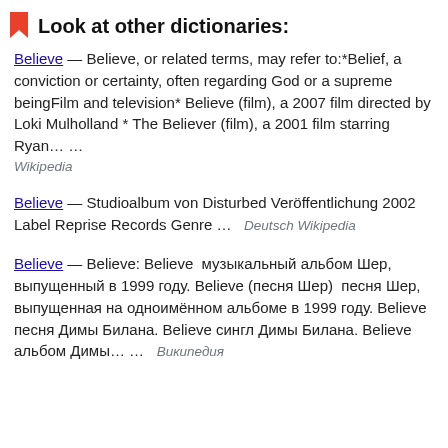Look at other dictionaries:
Believe — Believe, or related terms, may refer to:*Belief, a conviction or certainty, often regarding God or a supreme beingFilm and television* Believe (film), a 2007 film directed by Loki Mulholland * The Believer (film), a 2001 film starring Ryan… … Wikipedia
Believe — Studioalbum von Disturbed Veröffentlichung 2002 Label Reprise Records Genre … Deutsch Wikipedia
Believe — Believe: Believe  музыкальный альбом Шер, выпущенный в 1999 году. Believe (песня Шер)  песня Шер, выпущенная на одноимённом альбоме в 1999 году. Believe песня Димы Билана. Believe сингл Димы Билана. Believe альбом Димы… … Википедия